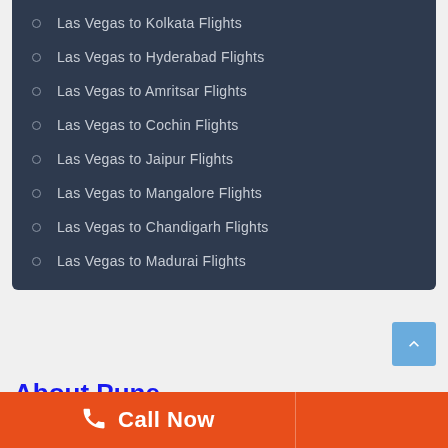Las Vegas to Kolkata Flights
Las Vegas to Hyderabad Flights
Las Vegas to Amritsar Flights
Las Vegas to Cochin Flights
Las Vegas to Jaipur Flights
Las Vegas to Mangalore Flights
Las Vegas to Chandigarh Flights
Las Vegas to Madurai Flights
About Pune
Call Now